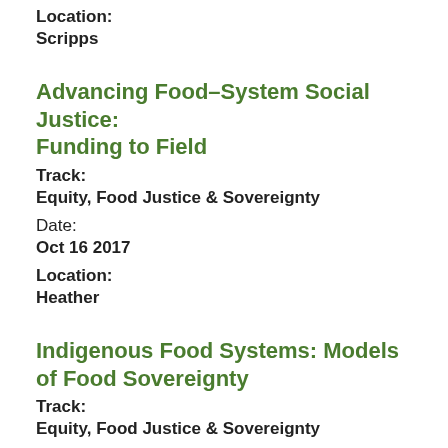Location:
Scripps
Advancing Food–System Social Justice: Funding to Field
Track:
Equity, Food Justice & Sovereignty
Date:
Oct 16 2017
Location:
Heather
Indigenous Food Systems: Models of Food Sovereignty
Track:
Equity, Food Justice & Sovereignty